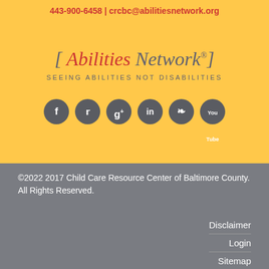443-900-6458 | crcbc@abilitiesnetwork.org
[Figure (logo): Abilities Network logo with brackets, italic serif text 'Abilities Network' with registered trademark symbol, and tagline 'SEEING ABILITIES NOT DISABILITIES' below. Six social media icons (Facebook, Twitter, Google+, LinkedIn, Pinterest, YouTube) in dark gray circles below the tagline.]
©2022 2017 Child Care Resource Center of Baltimore County. All Rights Reserved.
Disclaimer
Login
Sitemap